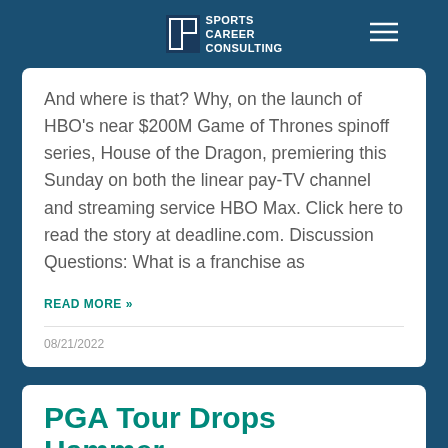Sports Career Consulting
And where is that? Why, on the launch of HBO's near $200M Game of Thrones spinoff series, House of the Dragon, premiering this Sunday on both the linear pay-TV channel and streaming service HBO Max. Click here to read the story at deadline.com. Discussion Questions: What is a franchise as
READ MORE »
08/21/2022
PGA Tour Drops Hammer